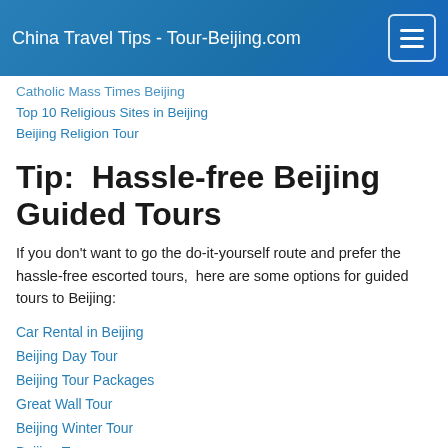China Travel Tips - Tour-Beijing.com
Catholic Mass Times Beijing
Top 10 Religious Sites in Beijing
Beijing Religion Tour
Tip:  Hassle-free Beijing Guided Tours
If you don't want to go the do-it-yourself route and prefer the hassle-free escorted tours,  here are some options for guided tours to Beijing:
Car Rental in Beijing
Beijing Day Tour
Beijing Tour Packages
Great Wall Tour
Beijing Winter Tour
Beijing Tours
China City Tours
China Tour